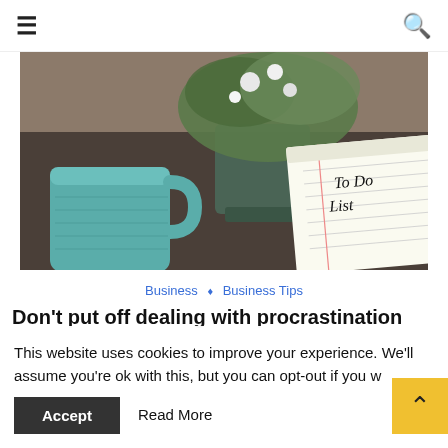☰  [search icon]
[Figure (photo): Desk scene with a teal ceramic mug, a glass vase with white daisy flowers and green foliage, and a yellow legal pad notepad with 'To Do List' written in handwriting, on a dark grey desk surface.]
Business ◇ Business Tips
Don't put off dealing with procrastination
This website uses cookies to improve your experience. We'll assume you're ok with this, but you can opt-out if you w...
Accept   Read More